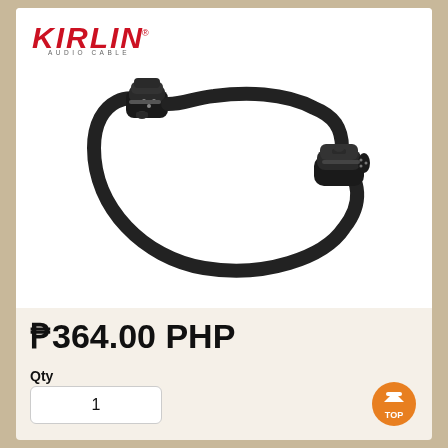[Figure (logo): Kirlin Audio Cable logo with red bold italic text and 'AUDIO CABLE' subtitle]
[Figure (photo): Black XLR audio cable with female connector at top-left and male connector at bottom-right, looped in a circular shape against white background]
₱364.00 PHP
Qty
1